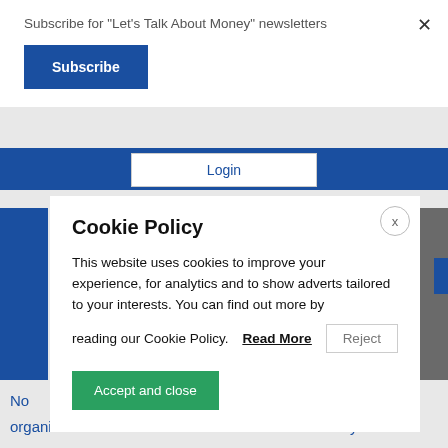Subscribe for "Let's Talk About Money" newsletters
Subscribe
Login
Cookie Policy
This website uses cookies to improve your experience, for analytics and to show adverts tailored to your interests. You can find out more by reading our Cookie Policy.
Read More
Reject
Accept and close
No
organisation that offers financial services exclusively to